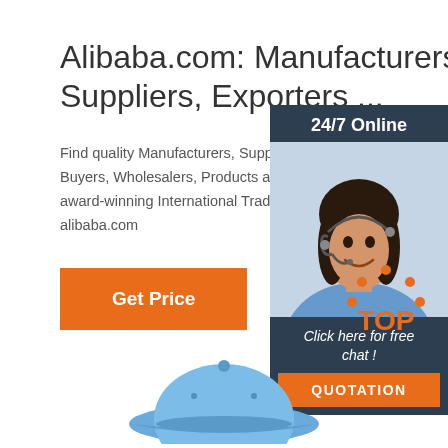Alibaba.com: Manufacturers, Suppliers, Exporters ...
Find quality Manufacturers, Suppliers, Exporters, Importers, Buyers, Wholesalers, Products and Trade Leads from our award-winning International Trade Site. Import & Export on alibaba.com
[Figure (infographic): Chat widget with '24/7 Online' header in dark blue-grey, a photo of a smiling woman with a headset, 'Click here for free chat!' text, and an orange QUOTATION button]
Get Price
[Figure (logo): TOP logo with orange dots arranged in an arc above the word TOP in orange text]
[Figure (photo): Light blue baseball cap, partially visible at bottom of page]